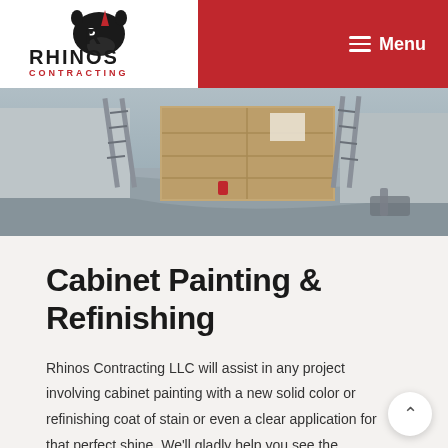[Figure (logo): Rhinos Contracting logo — black rhino head icon with red accent and black bold text RHINOS CONTRACTING in red smaller text below]
Menu
[Figure (photo): Exterior painting job site showing a house driveway covered with drop cloths, ladders leaning against the wall, and a wooden garage door in the background]
Cabinet Painting & Refinishing
Rhinos Contracting LLC will assist in any project involving cabinet painting with a new solid color or refinishing coat of stain or even a clear application for that perfect shine. We'll gladly help you see the difference between cabinet painting